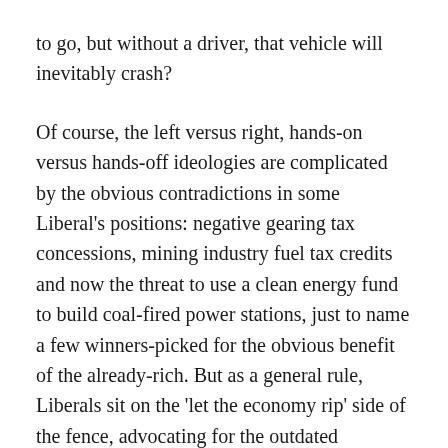to go, but without a driver, that vehicle will inevitably crash?
Of course, the left versus right, hands-on versus hands-off ideologies are complicated by the obvious contradictions in some Liberal's positions: negative gearing tax concessions, mining industry fuel tax credits and now the threat to use a clean energy fund to build coal-fired power stations, just to name a few winners-picked for the obvious benefit of the already-rich. But as a general rule, Liberals sit on the 'let the economy rip' side of the fence, advocating for the outdated economic theory which says a